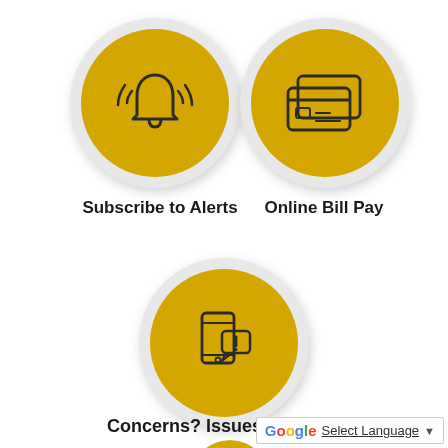[Figure (illustration): Yellow circular button with a bell/alert icon (ringing bell with sound waves) on a light gray outer circle with shadow]
[Figure (illustration): Yellow circular button with a credit card / bill pay icon (two overlapping cards) on a light gray outer circle with shadow]
Subscribe to Alerts
Online Bill Pay
[Figure (illustration): Yellow circular button with a smartphone/alert/notification icon (phone with exclamation speech bubble) on a light gray outer circle with shadow]
Concerns? Issues?
[Figure (illustration): Partially visible yellow circular button at the bottom of the page]
Select Language